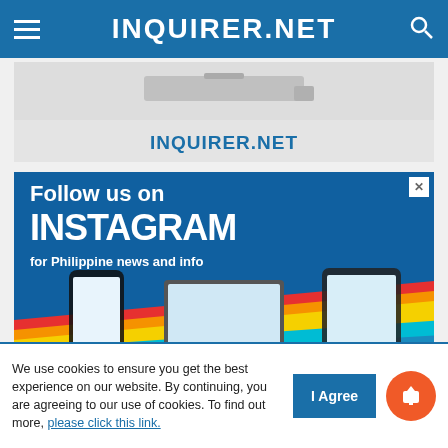INQUIRER.NET
[Figure (screenshot): Top advertisement banner for INQUIRER.NET with laptop/device image and logo text]
[Figure (screenshot): Instagram follow advertisement: 'Follow us on INSTAGRAM for Philippine news and info' with device mockups showing Instagram profile on phone, laptop, and tablet. Blue background with rainbow stripe diagonal at bottom.]
[Figure (screenshot): Partial bottom of another INQUIRER.NET advertisement banner showing text 'INQUIRER.NET']
We use cookies to ensure you get the best experience on our website. By continuing, you are agreeing to our use of cookies. To find out more, please click this link.